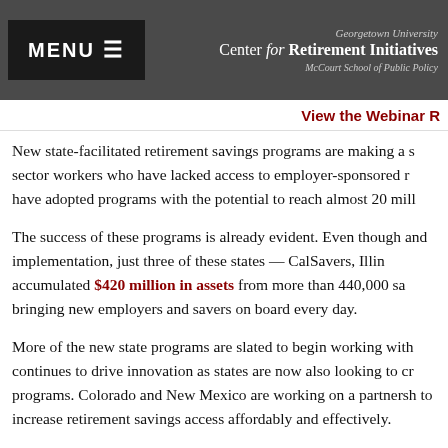MENU ≡ | Georgetown University Center for Retirement Initiatives McCourt School of Public Policy
View the Webinar R
New state-facilitated retirement savings programs are making a s sector workers who have lacked access to employer-sponsored r have adopted programs with the potential to reach almost 20 mill
The success of these programs is already evident. Even though and implementation, just three of these states — CalSavers, Illin accumulated $420 million in assets from more than 440,000 sa bringing new employers and savers on board every day.
More of the new state programs are slated to begin working with continues to drive innovation as states are now also looking to cr programs. Colorado and New Mexico are working on a partnersh to increase retirement savings access affordably and effectively.